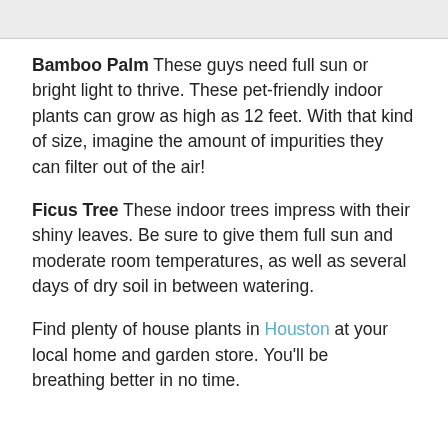[Figure (photo): Top portion of an image, mostly gray/light colored, partially visible at the top of the page]
Bamboo Palm These guys need full sun or bright light to thrive. These pet-friendly indoor plants can grow as high as 12 feet. With that kind of size, imagine the amount of impurities they can filter out of the air!
Ficus Tree These indoor trees impress with their shiny leaves. Be sure to give them full sun and moderate room temperatures, as well as several days of dry soil in between watering.
Find plenty of house plants in Houston at your local home and garden store. You'll be breathing better in no time.